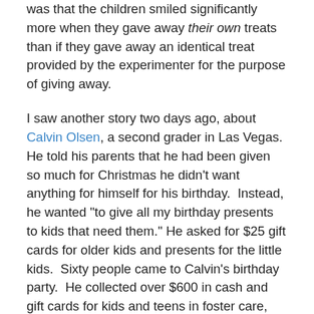was that the children smiled significantly more when they gave away their own treats than if they gave away an identical treat provided by the experimenter for the purpose of giving away.
I saw another story two days ago, about Calvin Olsen, a second grader in Las Vegas. He told his parents that he had been given so much for Christmas he didn't want anything for himself for his birthday. Instead, he wanted "to give all my birthday presents to kids that need them." He asked for $25 gift cards for older kids and presents for the little kids. Sixty people came to Calvin's birthday party. He collected over $600 in cash and gift cards for kids and teens in foster care, $100 of which was from his own savings.
That impulse to generosity that Calvin Olsen and the kids in the NPR study demonstrate is inspiration